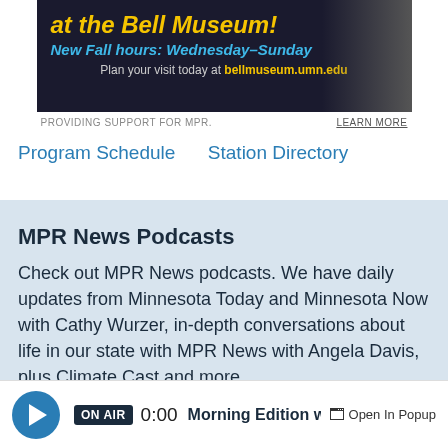[Figure (illustration): Bell Museum advertisement banner with dark background, yellow italic title text 'at the Bell Museum!', blue subtitle 'New Fall hours: Wednesday–Sunday', and body text 'Plan your visit today at bellmuseum.umn.edu' with person silhouette on right]
PROVIDING SUPPORT FOR MPR.       LEARN MORE
Program Schedule   Station Directory
MPR News Podcasts
Check out MPR News podcasts. We have daily updates from Minnesota Today and Minnesota Now with Cathy Wurzer, in-depth conversations about life in our state with MPR News with Angela Davis, plus Climate Cast and more.
All Podcasts ›
ON AIR  0:00  Morning Edition with Cathy W  Open In Popup